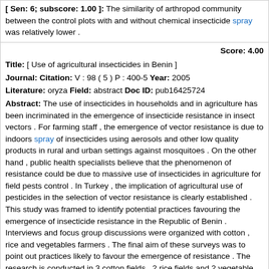[ Sen: 6; subscore: 1.00 ]: The similarity of arthropod community between the control plots with and without chemical insecticide spray was relatively lower .
Score: 4.00
Title: [ Use of agricultural insecticides in Benin ]
Journal: Citation: V : 98 ( 5 ) P : 400-5 Year: 2005
Literature: oryza Field: abstract Doc ID: pub16425724
Abstract: The use of insecticides in households and in agriculture has been incriminated in the emergence of insecticide resistance in insect vectors . For farming staff , the emergence of vector resistance is due to indoors spray of insecticides using aerosols and other low quality products in rural and urban settings against mosquitoes . On the other hand , public health specialists believe that the phenomenon of resistance could be due to massive use of insecticides in agriculture for field pests control . In Turkey , the implication of agricultural use of pesticides in the selection of vector resistance is clearly established . This study was framed to identify potential practices favouring the emergence of insecticide resistance in the Republic of Benin . Interviews and focus group discussions were organized with cotton , rice and vegetables farmers . The final aim of these surveys was to point out practices likely to favour the emergence of resistance . The research is conducted in 3 cotton fields , 2 rice fields and 2 vegetable plantations . After filling and signing concerned forms , farmers are subjected to quantitative and qualitative questionnaires to generate data on : insecticides being used , the various doses applied for pests eradication , the frequency of treatments , the cost of treatments ( cost/hectare/year ) the origin of insecticides , the place of purchase , safety precautions and related health hazards . The results of this study have shown that the use of insecticides in agriculture has favoured Benin's development t...